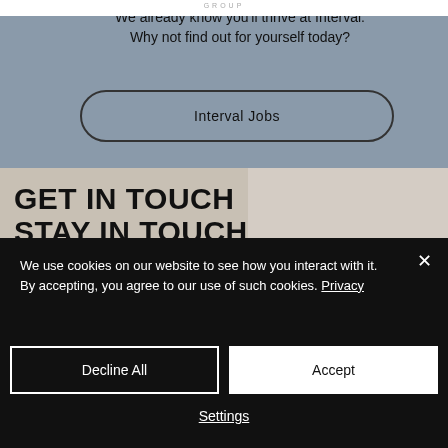GROUP
We already know you'll thrive at Interval. Why not find out for yourself today?
Interval Jobs
GET IN TOUCH STAY IN TOUCH
If, like us, you're ambitious and keen to make an impact on our challenging and
We use cookies on our website to see how you interact with it. By accepting, you agree to our use of such cookies. Privacy
Decline All
Accept
Settings